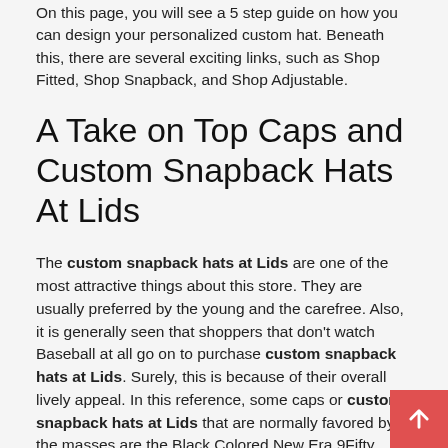On this page, you will see a 5 step guide on how you can design your personalized custom hat. Beneath this, there are several exciting links, such as Shop Fitted, Shop Snapback, and Shop Adjustable.
A Take on Top Caps and Custom Snapback Hats At Lids
The custom snapback hats at Lids are one of the most attractive things about this store. They are usually preferred by the young and the carefree. Also, it is generally seen that shoppers that don't watch Baseball at all go on to purchase custom snapback hats at Lids. Surely, this is because of their overall lively appeal. In this reference, some caps or custom snapback hats at Lids that are normally favored by the masses are the Black Colored New Era 9Fifty Custom and the Woodland Camo New Era 9Fifty Custom. A few prominent things about such